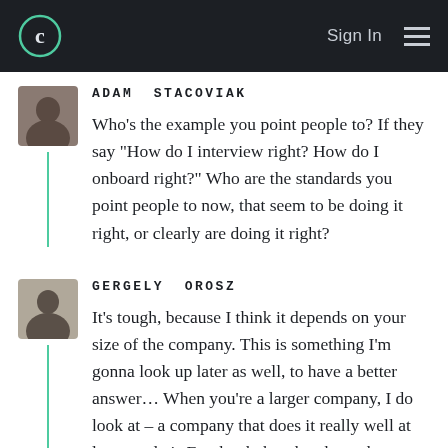Sign In [menu]
ADAM STACOVIAK
Who's the example you point people to? If they say “How do I interview right? How do I onboard right?” Who are the standards you point people to now, that seem to be doing it right, or clearly are doing it right?
GERGELY OROSZ
It’s tough, because I think it depends on your size of the company. This is something I’m gonna look up later as well, to have a better answer… When you’re a larger company, I do look at – a company that does it really well at large scale is Facebook, but they have the advantage of the brand. But they designed a really unbiased process; they have a really,